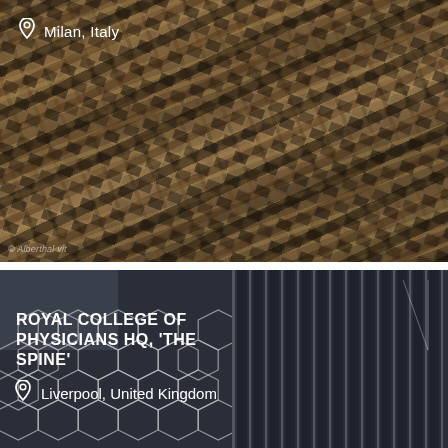[Figure (photo): Aerial/angled close-up photo of a building facade with a repetitive geometric pattern of windows and panels in earthy tones — browns, tans, and dark rectangles — located in Milan, Italy. Location pin and text 'Milan, Italy' overlaid top-left. Watermark '© Alberthal vit' at bottom-left.]
[Figure (photo): Architectural photo of the Royal College of Physicians HQ 'The Spine' in Liverpool, United Kingdom. Shows two parts: left side with honeycomb/organic glass facade pattern, right side with vertical fins/louvers. Bold white title text and location pin overlaid on the image.]